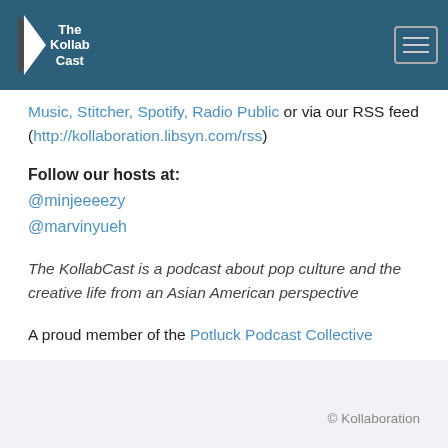The KollabCast
Music, Stitcher, Spotify, Radio Public or via our RSS feed (http://kollaboration.libsyn.com/rss)
Follow our hosts at:
@minjeeeezy
@marvinyueh
The KollabCast is a podcast about pop culture and the creative life from an Asian American perspective
A proud member of the Potluck Podcast Collective
© Kollaboration